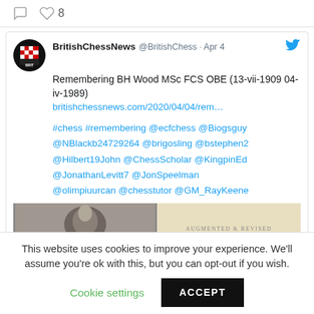comment icon, heart icon, 8
[Figure (screenshot): BritishChessNews Twitter/X post. Header: BritishChessNews @BritishChess · Apr 4 with Twitter bird icon. Body: Remembering BH Wood MSc FCS OBE (13-vii-1909 04-iv-1989). Link: britishchessnews.com/2020/04/04/rem… Tags: #chess #remembering @ecfchess @Biogsguy @NBlackb24729264 @brigosling @bstephen2 @Hilbert19John @ChessScholar @KingpinEd @JonathanLevitt7 @JonSpeelman @olimpiuurcan @chesstutor @GM_RayKeene. Image: black-and-white photo on left, beige card with AUGMENTED & REVISED EDITION on right.]
This website uses cookies to improve your experience. We'll assume you're ok with this, but you can opt-out if you wish.
Cookie settings   ACCEPT